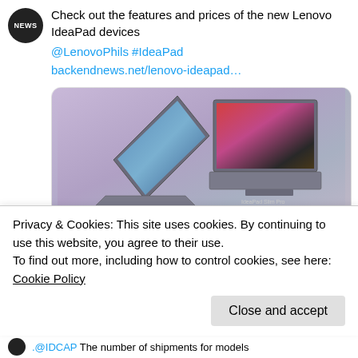[Figure (screenshot): Twitter/social media post showing a NEWS avatar and tweet text about Lenovo IdeaPad devices with links, containing a card preview image of Lenovo IdeaPad laptops]
Check out the features and prices of the new Lenovo IdeaPad devices @LenovoPhils #IdeaPad backendnews.net/lenovo-ideapad…
[Figure (photo): Product photo of two Lenovo IdeaPad laptops (IdeaPad Slim 5 and IdeaPad Slim Pro) on a purple/lavender gradient background]
backendnews.net
Lenovo IdeaPad devices deliver high quality...
Privacy & Cookies: This site uses cookies. By continuing to use this website, you agree to their use. To find out more, including how to control cookies, see here: Cookie Policy
Close and accept
.@IDCAP The number of shipments for models